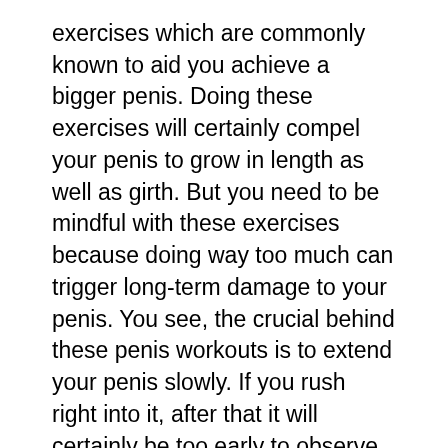exercises which are commonly known to aid you achieve a bigger penis. Doing these exercises will certainly compel your penis to grow in length as well as girth. But you need to be mindful with these exercises because doing way too much can trigger long-term damage to your penis. You see, the crucial behind these penis workouts is to extend your penis slowly. If you rush right into it, after that it will certainly be too early to observe any favorable results as well as your prick won't have the ability to grow anymore.
So how specifically do penis exercises work? Well, it's not rocket science yet it's not brain surgery additionally. The concept behind it is simple enough: the even more pressure you put in on your penis, the much faster it